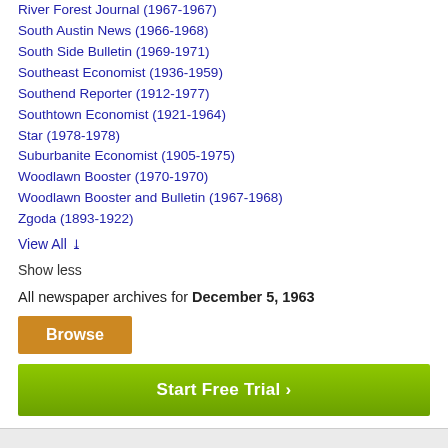River Forest Journal (1967-1967)
South Austin News (1966-1968)
South Side Bulletin (1969-1971)
Southeast Economist (1936-1959)
Southend Reporter (1912-1977)
Southtown Economist (1921-1964)
Star (1978-1978)
Suburbanite Economist (1905-1975)
Woodlawn Booster (1970-1970)
Woodlawn Booster and Bulletin (1967-1968)
Zgoda (1893-1922)
View All ▾
Show less
All newspaper archives for December 5, 1963
Browse
Start Free Trial ›
About Us | Contact Us | Blog | This Day In History | Free Newspaper Archives | Terms | Privacy | Copyright | Your California Privacy Rights | Sitemap
© Copyright 2022 NewspaperARCHIVE.com. All rights reserved.